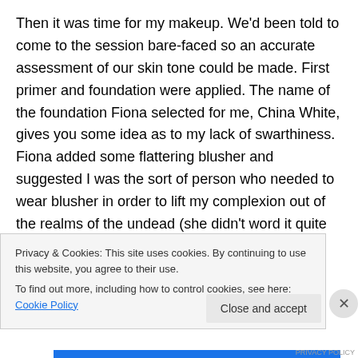Then it was time for my makeup. We'd been told to come to the session bare-faced so an accurate assessment of our skin tone could be made. First primer and foundation were applied. The name of the foundation Fiona selected for me, China White, gives you some idea as to my lack of swarthiness. Fiona added some flattering blusher and suggested I was the sort of person who needed to wear blusher in order to lift my complexion out of the realms of the undead (she didn't word it quite like that but that's what I inferred). Then it was lipstick time. I've never been very good with lipsticks. Eye makeup has always been my
Privacy & Cookies: This site uses cookies. By continuing to use this website, you agree to their use.
To find out more, including how to control cookies, see here: Cookie Policy
Close and accept